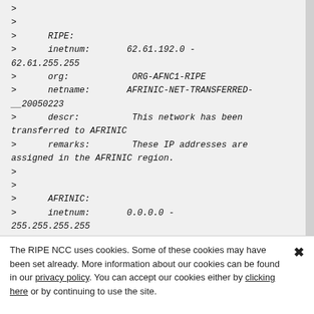>  
>  
>      RIPE:
>      inetnum:       62.61.192.0 - 62.61.255.255
>      org:            ORG-AFNC1-RIPE
>      netname:       AFRINIC-NET-TRANSFERRED-__20050223
>      descr:          This network has been transferred to AFRINIC
>      remarks:        These IP addresses are assigned in the AFRINIC region.
>
>
>      AFRINIC:
>      inetnum:       0.0.0.0 - 255.255.255.255
>      netname:       IANA-BLK
>      descr:          The whole IPv4 address space
The RIPE NCC uses cookies. Some of these cookies may have been set already. More information about our cookies can be found in our privacy policy. You can accept our cookies either by clicking here or by continuing to use the site.